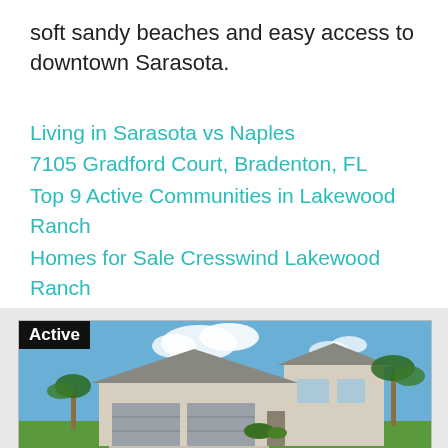soft sandy beaches and easy access to downtown Sarasota.
Living in Sarasota vs Naples
7105 Gradford Court, Bradenton, FL
Top 9 Active Communities in Lakewood Ranch
Homes for Sale Cresswind Lakewood Ranch
Homes for Sale Esplanade Golf & Country Club
[Figure (photo): Exterior photo of a large Florida-style home with two-car garage, tiled roof, stucco exterior, and palm trees. An 'Active' badge is shown in the top-left corner of the image.]